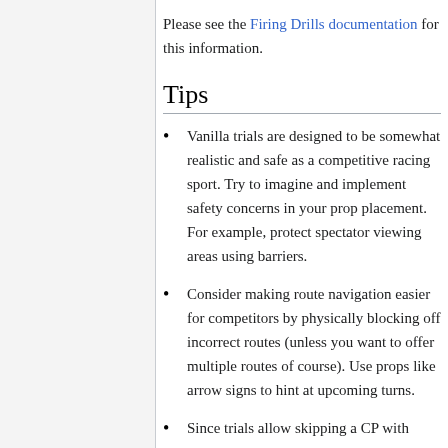Please see the Firing Drills documentation for this information.
Tips
Vanilla trials are designed to be somewhat realistic and safe as a competitive racing sport. Try to imagine and implement safety concerns in your prop placement. For example, protect spectator viewing areas using barriers.
Consider making route navigation easier for competitors by physically blocking off incorrect routes (unless you want to offer multiple routes of course). Use props like arrow signs to hint at upcoming turns.
Since trials allow skipping a CP with...